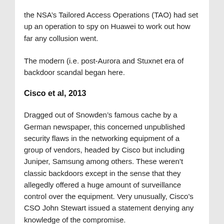the NSA's Tailored Access Operations (TAO) had set up an operation to spy on Huawei to work out how far any collusion went.
The modern (i.e. post-Aurora and Stuxnet era of backdoor scandal began here.
Cisco et al, 2013
Dragged out of Snowden's famous cache by a German newspaper, this concerned unpublished security flaws in the networking equipment of a group of vendors, headed by Cisco but including Juniper, Samsung among others. These weren't classic backdoors except in the sense that they allegedly offered a huge amount of surveillance control over the equipment. Very unusually, Cisco's CSO John Stewart issued a statement denying any knowledge of the compromise.
“As we have stated prior, and communicated to Der Spiegel, we do not work with any government to weaken our products for exploitation, nor to implement any so-